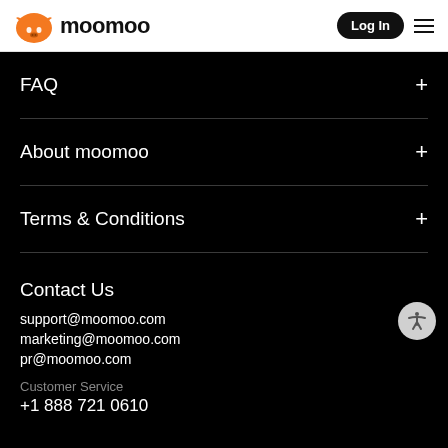moomoo | Log In
FAQ +
About moomoo +
Terms & Conditions +
Contact Us
support@moomoo.com
marketing@moomoo.com
pr@moomoo.com
Customer Service
+1 888 721 0610